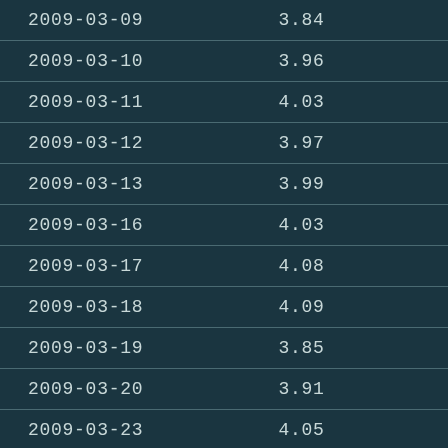| 2009-03-09 | 3.84 |
| 2009-03-10 | 3.96 |
| 2009-03-11 | 4.03 |
| 2009-03-12 | 3.97 |
| 2009-03-13 | 3.99 |
| 2009-03-16 | 4.03 |
| 2009-03-17 | 4.08 |
| 2009-03-18 | 4.09 |
| 2009-03-19 | 3.85 |
| 2009-03-20 | 3.91 |
| 2009-03-23 | 4.05 |